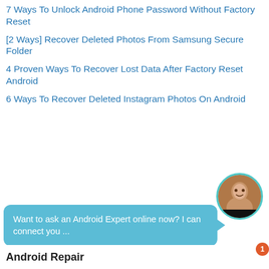7 Ways To Unlock Android Phone Password Without Factory Reset
[2 Ways] Recover Deleted Photos From Samsung Secure Folder
4 Proven Ways To Recover Lost Data After Factory Reset Android
6 Ways To Recover Deleted Instagram Photos On Android
Want to ask an Android Expert online now? I can connect you ...
Android Repair